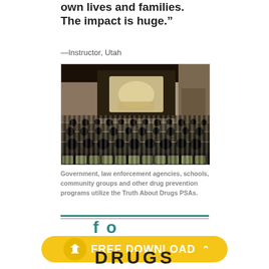own lives and families. The impact is huge."
—Instructor, Utah
[Figure (photo): Audience of students in striped uniforms seated in chairs watching a presentation on a stage with a lit screen in an auditorium or assembly hall.]
Government, law enforcement agencies, schools, community groups and other drug prevention programs utilize the Truth About Drugs PSAs.
FREE DOWNLOAD
DRUGS